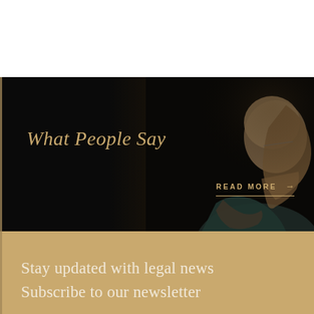[Figure (photo): White blank space at the top of the page]
[Figure (photo): Dark background section with profile photo of a bald middle-aged man with glasses in contemplative pose on a near-black background, with gold italic heading 'What People Say' on the left side and a 'READ MORE →' link at the bottom right]
What People Say
READ MORE →
Stay updated with legal news
Subscribe to our newsletter